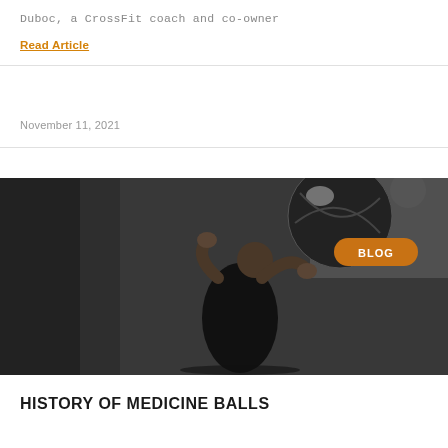Duboc, a CrossFit coach and co-owner
Read Article
November 11, 2021
[Figure (photo): A man catching or throwing a large black medicine ball in a dark indoor gym setting. He is wearing a black shirt. The image is dark and high-contrast. An orange 'BLOG' badge is overlaid in the upper right.]
HISTORY OF MEDICINE BALLS